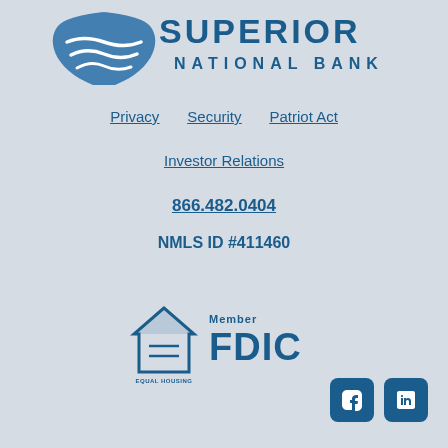[Figure (logo): Superior National Bank logo with blue wave/shield icon and text SUPERIOR NATIONAL BANK]
Privacy | Security | Patriot Act
Investor Relations
866.482.0404
NMLS ID #411460
[Figure (logo): Equal Housing Lender logo and Member FDIC logo]
[Figure (logo): Facebook and LinkedIn social media icons]